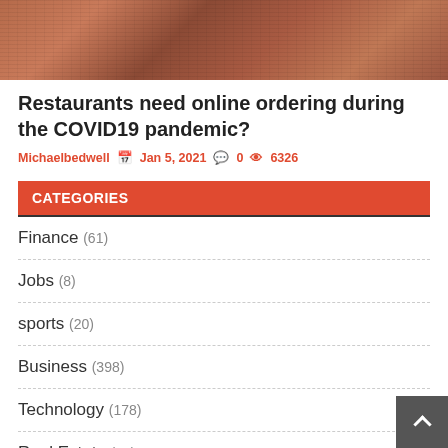[Figure (photo): Wooden texture hero image in warm brown/reddish tones]
Restaurants need online ordering during the COVID19 pandemic?
Michaelbedwell  📅 Jan 5, 2021  💬 0  👁 6326
CATEGORIES
Finance  (61)
Jobs  (8)
sports  (20)
Business  (398)
Technology  (178)
Real Estate  (54)